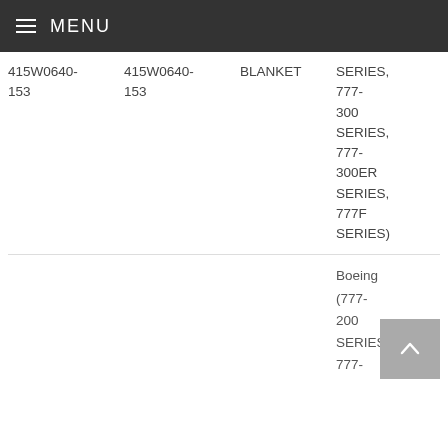MENU
| Part Number (Link) | Part Number | Description | Applicability | Action |
| --- | --- | --- | --- | --- |
| 415W0640-153 | 415W0640-153 | BLANKET | Boeing (777-200 SERIES, 777-300 SERIES, 777-300ER SERIES, 777F SERIES) | Request For Quote |
|  |  |  | Boeing (777-200 SERIES, 777- |  |